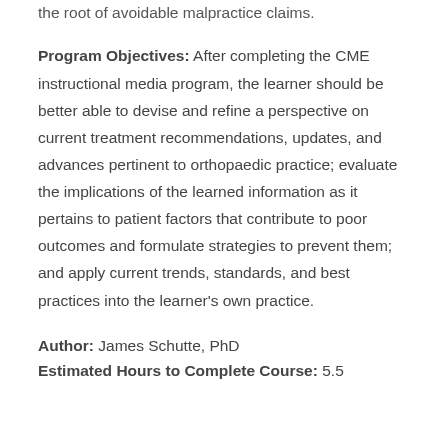the root of avoidable malpractice claims.
Program Objectives: After completing the CME instructional media program, the learner should be better able to devise and refine a perspective on current treatment recommendations, updates, and advances pertinent to orthopaedic practice; evaluate the implications of the learned information as it pertains to patient factors that contribute to poor outcomes and formulate strategies to prevent them; and apply current trends, standards, and best practices into the learner's own practice.
Author: James Schutte, PhD
Estimated Hours to Complete Course: 5.5